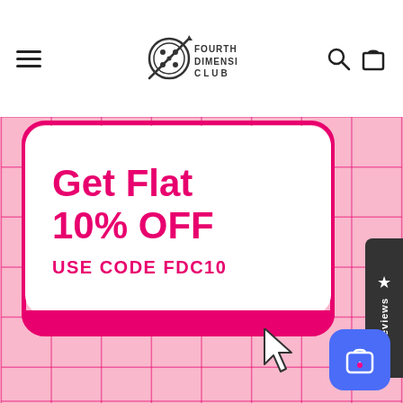[Figure (logo): Fourth Dimension Club logo with hamburger menu, center logo icon and text, search and cart icons in navigation bar]
[Figure (infographic): Pink grid background promo banner with white rounded card showing 'Get Flat 10% OFF USE CODE FDC10' in hot pink text, with a Reviews tab on the right side and a shopping cart button in the bottom right corner]